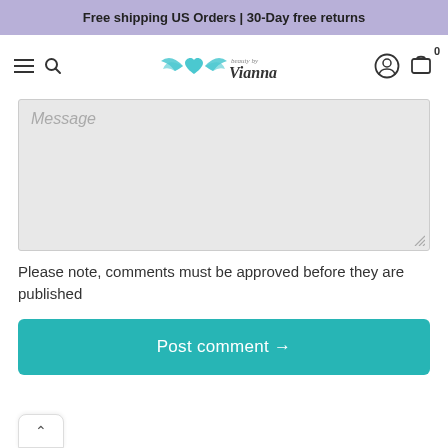Free shipping US Orders | 30-Day free returns
[Figure (logo): Beauty by Vianna logo with heart and wings]
[Figure (screenshot): Message textarea input field with placeholder text 'Message']
Please note, comments must be approved before they are published
[Figure (other): Post comment button with arrow]